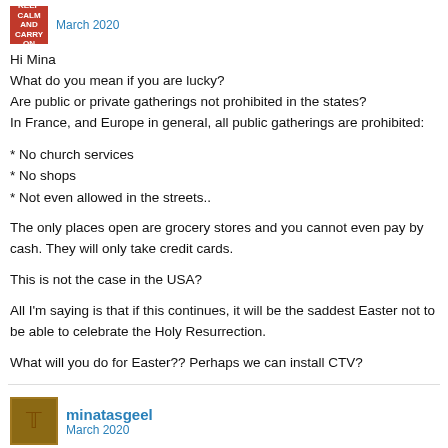[Figure (other): Red avatar icon with 'CARRY ON' text]
March 2020
Hi Mina
What do you mean if you are lucky?
Are public or private gatherings not prohibited in the states?
In France, and Europe in general, all public gatherings are prohibited:
* No church services
* No shops
* Not even allowed in the streets..
The only places open are grocery stores and you cannot even pay by cash. They will only take credit cards.
This is not the case in the USA?
All I'm saying is that if this continues, it will be the saddest Easter not to be able to celebrate the Holy Resurrection.
What will you do for Easter?? Perhaps we can install CTV?
[Figure (other): Brown avatar icon with stylized TS monogram]
minatasgeel
March 2020
In the USA, it's different. Each state is responsible for itself while they work with the federal government...states with large numbers are taking